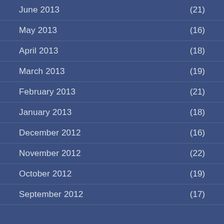June 2013 (21)
May 2013 (16)
April 2013 (18)
March 2013 (19)
February 2013 (21)
January 2013 (18)
December 2012 (16)
November 2012 (22)
October 2012 (19)
September 2012 (17)